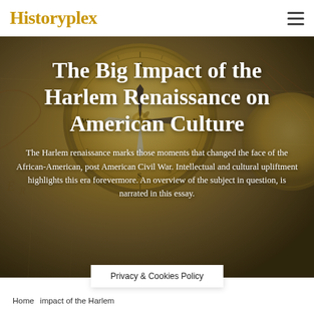Historyplex
[Figure (photo): Background image of an antique compass and old map, used as hero image behind article title]
The Big Impact of the Harlem Renaissance on American Culture
The Harlem renaissance marks those moments that changed the face of the African-American, post American Civil War. Intellectual and cultural upliftment highlights this era forevermore. An overview of the subject in question, is narrated in this essay.
Privacy & Cookies Policy
Home  impact of the Harlem